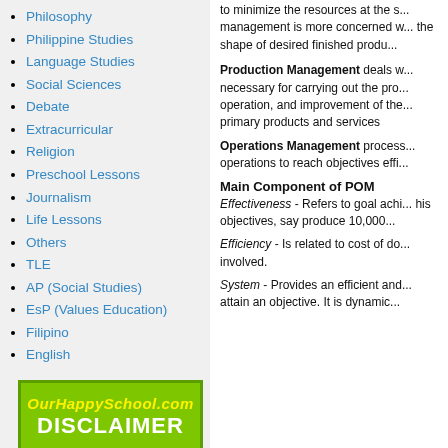Philosophy
Philippine Studies
Language Studies
Social Sciences
Debate
Extracurricular
Religion
Preschool Lessons
Journalism
Life Lessons
Others
TLE
AP (Social Studies)
EsP (Values Education)
Filipino
English
[Figure (logo): OurHappySchool.com DISCLAIMER logo on green background]
to minimize the resources at the s... management is more concerned w... the shape of desired finished produ...
Production Management deals w... necessary for carrying out the pro... operation, and improvement of the... primary products and services
Operations Management process... operations to reach objectives effi...
Main Component of POM
Effectiveness - Refers to goal achi... his objectives, say produce 10,000...
Efficiency - Is related to cost of do... involved.
System - Provides an efficient and... attain an objective. It is dynamic...